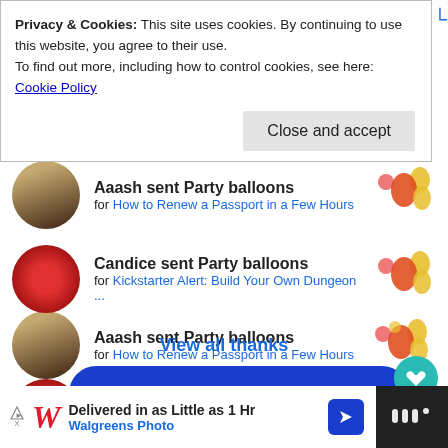Privacy & Cookies: This site uses cookies. By continuing to use this website, you agree to their use.
To find out more, including how to control cookies, see here: Cookie Policy
Close and accept
Aaash sent Party balloons
for How to Renew a Passport in a Few Hours
Candice sent Party balloons
for Kickstarter Alert: Build Your Own Dungeon ...
View all thanks
Thank the creator
Delivered in as Little as 1 Hr
Walgreens Photo